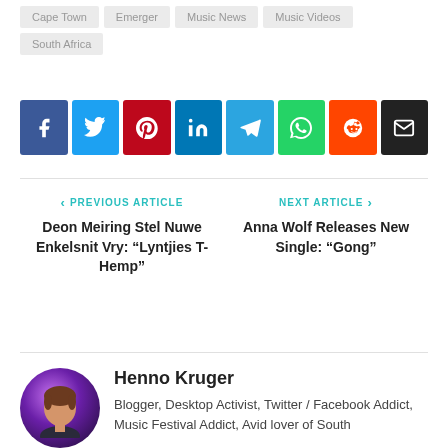Cape Town
Emerger
Music News
Music Videos
South Africa
[Figure (infographic): Social share buttons row: Facebook (blue), Twitter (light blue), Pinterest (red), LinkedIn (dark teal), Telegram (blue), WhatsApp (green), Reddit (orange), Email (black)]
< PREVIOUS ARTICLE
Deon Meiring Stel Nuwe Enkelsnit Vry: “Lyntjies T-Hemp”
NEXT ARTICLE >
Anna Wolf Releases New Single: “Gong”
Henno Kruger
Blogger, Desktop Activist, Twitter / Facebook Addict, Music Festival Addict, Avid lover of South